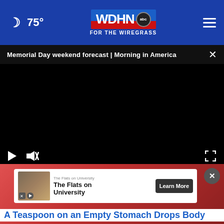🌙 75° | WDHN abc FOR THE WIREGRASS | ☰
Memorial Day weekend forecast | Morning in America ×
[Figure (screenshot): Black video player area with play button and mute/fullscreen controls]
[Figure (photo): Partial view of food/berries image with advertisement overlay. Ad shows: 'The Flats on University' with thumbnail, source 'The Flats on University', and 'Learn More' button. Bottom partially visible headline: 'A Teaspoon on an Empty Stomach Drops Body']
A Teaspoon on an Empty Stomach Drops Body